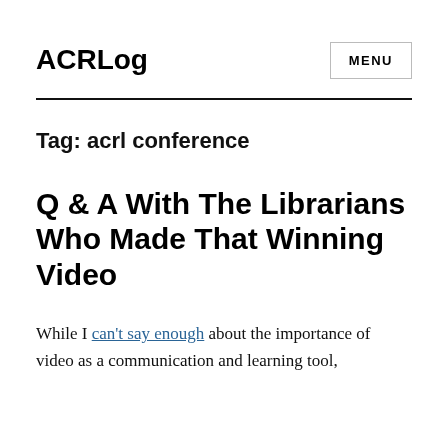ACRLog
Tag: acrl conference
Q & A With The Librarians Who Made That Winning Video
While I can't say enough about the importance of video as a communication and learning tool,